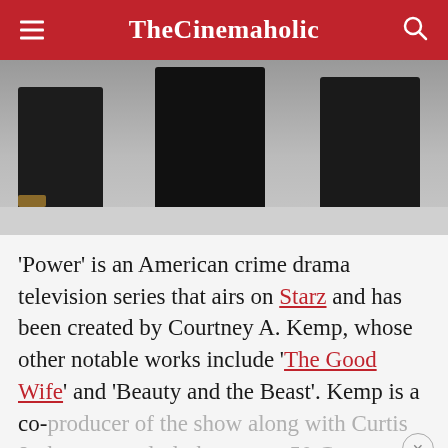TheCinemaholic
[Figure (photo): Three people standing in dark clothing viewed from waist down, standing on a light-colored surface, part of a TV show promotional image]
'Power' is an American crime drama television series that airs on Starz and has been created by Courtney A. Kemp, whose other notable works include 'The Good Wife' and 'Beauty and the Beast'. Kemp is a co-producer of the show along with Curtis Jackson, popularly known as 50 Cent.
ADVERTISEMENT